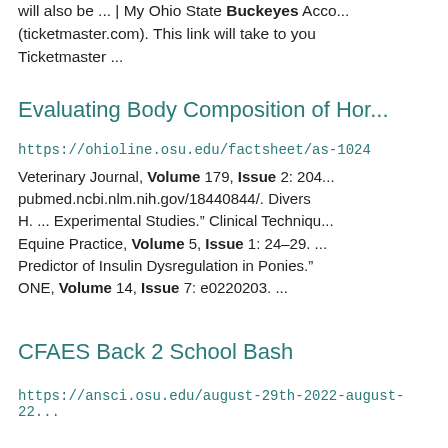will also be ... | My Ohio State Buckeyes Acco... (ticketmaster.com). This link will take to you Ticketmaster ...
Evaluating Body Composition of Hor...
https://ohioline.osu.edu/factsheet/as-1024
Veterinary Journal, Volume 179, Issue 2: 204... pubmed.ncbi.nlm.nih.gov/18440844/. Divers H. ... Experimental Studies." Clinical Techniqu... Equine Practice, Volume 5, Issue 1: 24–29. ... Predictor of Insulin Dysregulation in Ponies." ONE, Volume 14, Issue 7: e0220203. ...
CFAES Back 2 School Bash
https://ansci.osu.edu/august-29th-2022-august-22...